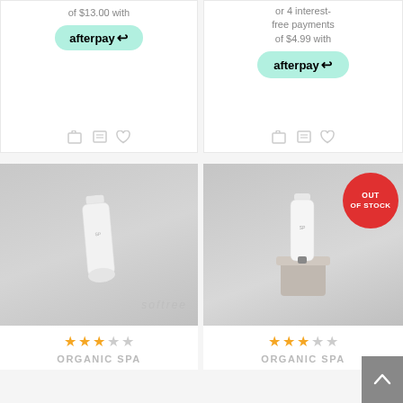of $13.00 with afterpay
or 4 interest-free payments of $4.99 with afterpay
[Figure (photo): White skincare tube product on grey background]
[Figure (photo): White skincare tube on stone block, grey background, with OUT OF STOCK badge]
ORGANIC SPA
ORGANIC SPA